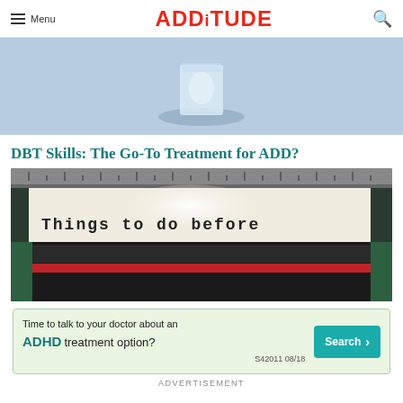≡ Menu  ADDitude  🔍
[Figure (illustration): Light blue background with a glass of water illustration — top portion of article hero image]
DBT Skills: The Go-To Treatment for ADD?
[Figure (photo): Close-up photo of a typewriter with a paper that reads 'Things to do before' — vintage typewriter with ruler at top]
[Figure (infographic): Advertisement banner: 'Time to talk to your doctor about an ADHD treatment option?' with a teal Search button and code S42011 08/18]
ADVERTISEMENT